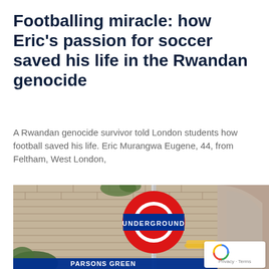Footballing miracle: how Eric's passion for soccer saved his life in the Rwandan genocide
A Rwandan genocide survivor told London students how football saved his life. Eric Murangwa Eugene, 44, from Feltham, West London,
[Figure (photo): Photograph of a London Underground roundel sign at Parsons Green station, with brick wall background and a warm glowing light below the sign. A reCAPTCHA badge is overlaid in the bottom-right corner with Privacy and Terms text.]